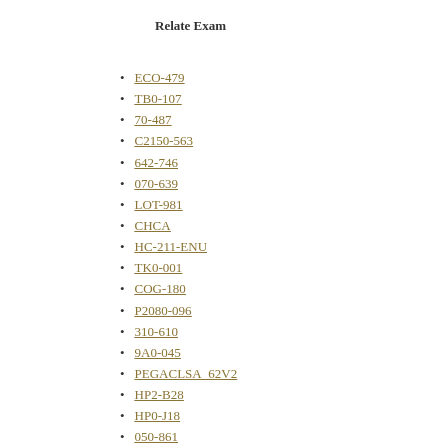Relate Exam
ECO-479
TB0-107
70-487
C2150-563
642-746
070-639
LOT-981
CHCA
HC-211-ENU
TK0-001
COG-180
P2080-096
310-610
9A0-045
PEGACLSA_62V2
HP2-B28
HP0-J18
050-861
A2040-929
1Z0-235